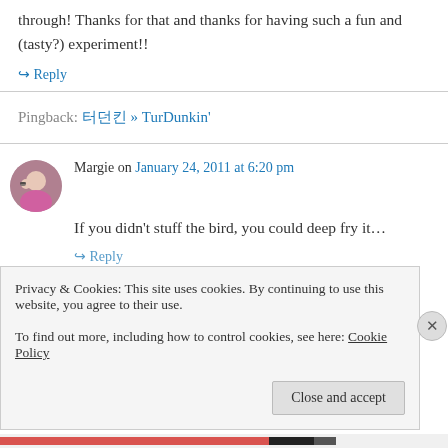through! Thanks for that and thanks for having such a fun and (tasty?) experiment!!
↳ Reply
Pingback: 터던킨 » TurDunkin'
Margie on January 24, 2011 at 6:20 pm
If you didn't stuff the bird, you could deep fry it...
↳ Reply
Privacy & Cookies: This site uses cookies. By continuing to use this website, you agree to their use.
To find out more, including how to control cookies, see here: Cookie Policy